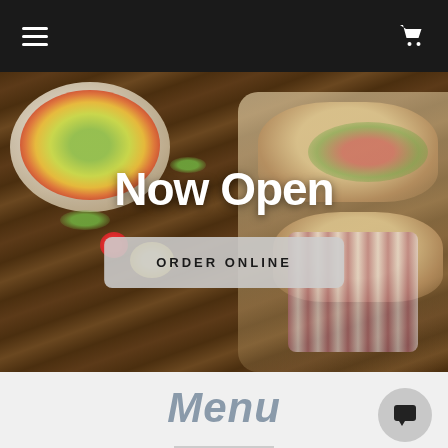Navigation bar with hamburger menu and cart icon
[Figure (photo): Overhead view of Mexican food: tacos with meat, red onions, lettuce, peppers, and a bowl of salad with mango, on a dark wooden table with a striped cloth]
Now Open
ORDER ONLINE
Menu